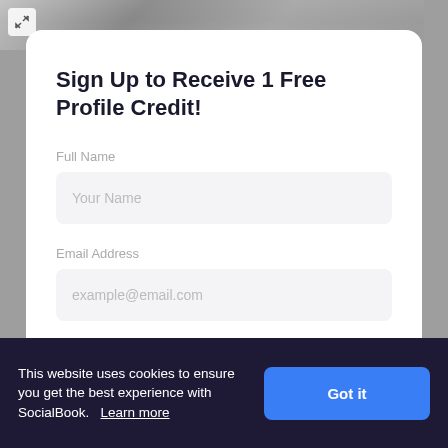[Figure (photo): Wedding or outdoor photo strip at the top of the page, partially visible behind the modal card]
Sign Up to Receive 1 Free Profile Credit!
Full Name
Your Name
Email Address
example@email.com
This website uses cookies to ensure you get the best experience with SocialBook.    Learn more
Got it